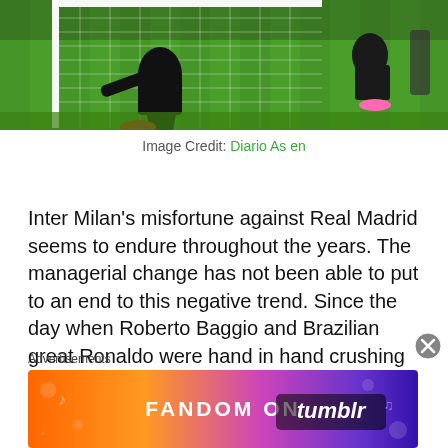[Figure (photo): Soccer/football scene showing players near a goal post on a green field, with a goal net visible in the background. Players wearing dark uniforms with red and pink shoes visible.]
Image Credit: Diario As en
Inter Milan's misfortune against Real Madrid seems to endure throughout the years. The managerial change has not been able to put to an end to this negative trend. Since the day when Roberto Baggio and Brazilian great Ronaldo were hand in hand crushing Los Blancos in 1998, they have not been able to beat the thirteen-time title holder or even hold them to a draw. On matchday one of this year's UCL, they were beaten
Advertisements
[Figure (other): Advertisement banner for FANDOM ON tumblr with colorful gradient background (orange to purple) featuring music notes and doodles]